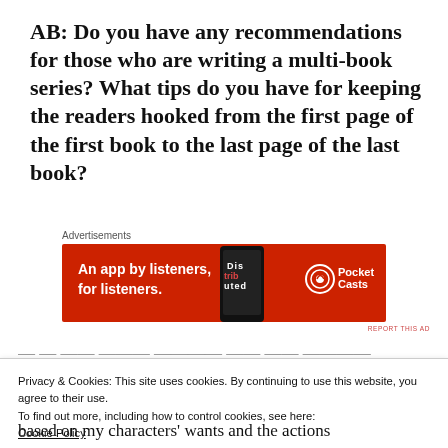AB: Do you have any recommendations for those who are writing a multi-book series? What tips do you have for keeping the readers hooked from the first page of the first book to the last page of the last book?
[Figure (other): Pocket Casts advertisement banner: red background with text 'An app by listeners, for listeners.' and Pocket Casts logo on right side with a phone image.]
Privacy & Cookies: This site uses cookies. By continuing to use this website, you agree to their use.
To find out more, including how to control cookies, see here:
Cookie Policy
based on my characters' wants and the actions